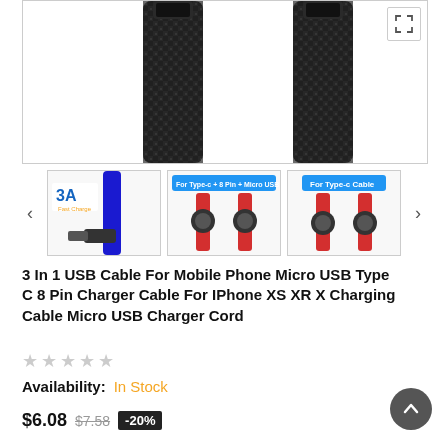[Figure (photo): Main product photo showing two black braided USB cables close-up against white background]
[Figure (photo): Thumbnail 1: 3A fast charge label with multi-connector cable (Type-C, 8 Pin, Micro USB)]
[Figure (photo): Thumbnail 2: Red cable with label 'For Type-c + 8 Pin + Micro USB' showing two connectors]
[Figure (photo): Thumbnail 3: Red cable with label 'For Type-c Cable' showing two connectors]
3 In 1 USB Cable For Mobile Phone Micro USB Type C 8 Pin Charger Cable For IPhone XS XR X Charging Cable Micro USB Charger Cord
Availability: In Stock
$6.08  $7.58  -20%